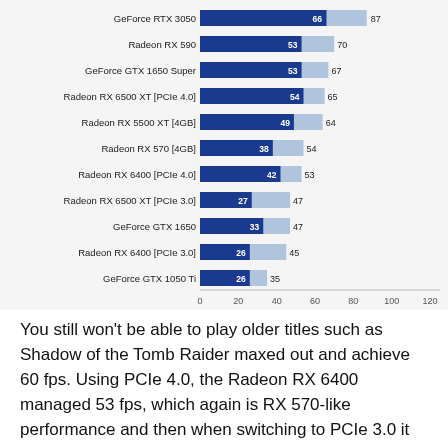[Figure (bar-chart): ]
You still won't be able to play older titles such as Shadow of the Tomb Raider maxed out and achieve 60 fps. Using PCIe 4.0, the Radeon RX 6400 managed 53 fps, which again is RX 570-like performance and then when switching to PCIe 3.0 it fell behind the GTX 1650 for what really was a miserable